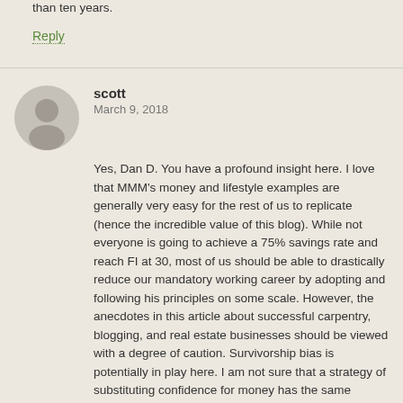than ten years.
Reply
scott
March 9, 2018
Yes, Dan D. You have a profound insight here. I love that MMM's money and lifestyle examples are generally very easy for the rest of us to replicate (hence the incredible value of this blog). While not everyone is going to achieve a 75% savings rate and reach FI at 30, most of us should be able to drastically reduce our mandatory working career by adopting and following his principles on some scale. However, the anecdotes in this article about successful carpentry, blogging, and real estate businesses should be viewed with a degree of caution. Survivorship bias is potentially in play here. I am not sure that a strategy of substituting confidence for money has the same degree of replicability for us as readers. I don't disagree with the Recipe for Badass Confidence and I think that the more people that can go out on their own and create value like MMM the better. But I think the reality is that this confidence + entrepreneurism formula has a much lower success rate than the full